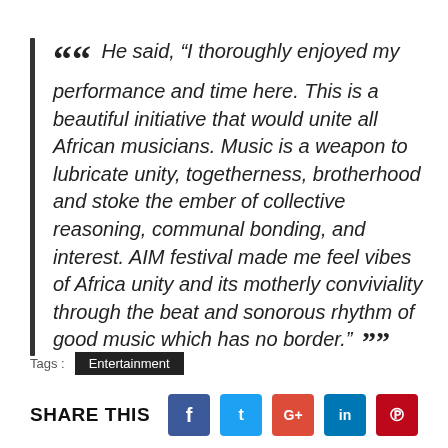“ He said, “I thoroughly enjoyed my performance and time here. This is a beautiful initiative that would unite all African musicians. Music is a weapon to lubricate unity, togetherness, brotherhood and stoke the ember of collective reasoning, communal bonding, and interest. AIM festival made me feel vibes of Africa unity and its motherly conviviality through the beat and sonorous rhythm of good music which has no border.” ”
Tags : Entertainment
SHARE THIS